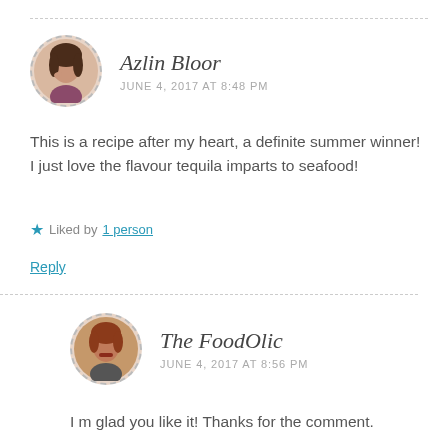Azlin Bloor
JUNE 4, 2017 AT 8:48 PM
This is a recipe after my heart, a definite summer winner! I just love the flavour tequila imparts to seafood!
Liked by 1 person
Reply
The FoodOlic
JUNE 4, 2017 AT 8:56 PM
I m glad you like it! Thanks for the comment.